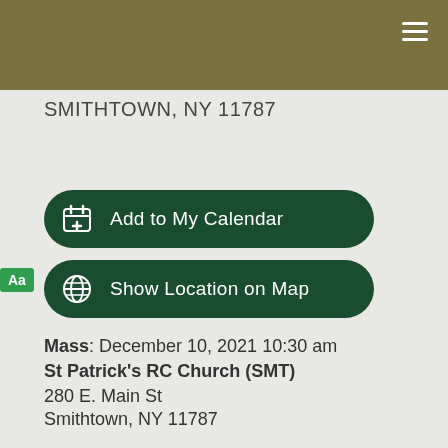SMITHTOWN, NY 11787
Add to My Calendar
Show Location on Map
Mass: December 10, 2021 10:30 am
St Patrick's RC Church (SMT)
280 E. Main St
Smithtown, NY 11787